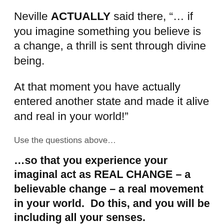Neville ACTUALLY said there, “… if you imagine something you believe is a change, a thrill is sent through divine being.
At that moment you have actually entered another state and made it alive and real in your world!”
Use the questions above…
…so that you experience your imaginal act as REAL CHANGE – a believable change – a real movement in your world.  Do this, and you will be including all your senses.
And when you include all your senses,